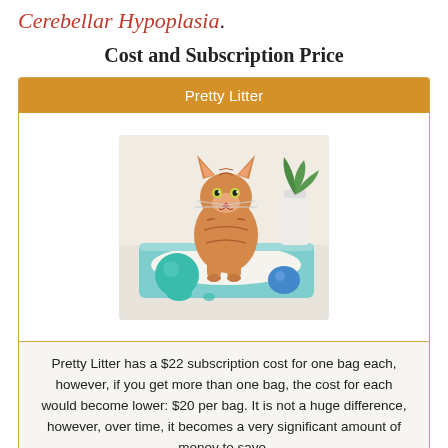Cerebellar Hypoplasia.
Cost and Subscription Price
| Pretty Litter |
| --- |
| [image of cat in litter box] |
| Pretty Litter has a $22 subscription cost for one bag each, however, if you get more than one bag, the cost for each would become lower: $20 per bag. It is not a huge difference, however, over time, it becomes a very significant amount of money to save. |
Pretty Litter has a $22 subscription cost for one bag each, however, if you get more than one bag, the cost for each would become lower: $20 per bag. It is not a huge difference, however, over time, it becomes a very significant amount of money to save.